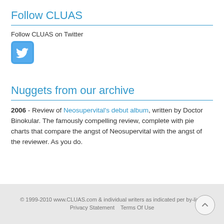Follow CLUAS
Follow CLUAS on Twitter
[Figure (logo): Twitter bird logo icon in a rounded blue square]
Nuggets from our archive
2006 - Review of Neosupervital's debut album, written by Doctor Binokular. The famously compelling review, complete with pie charts that compare the angst of Neosupervital with the angst of the reviewer. As you do.
© 1999-2010 www.CLUAS.com & individual writers as indicated per by-line.
Privacy Statement   Terms Of Use